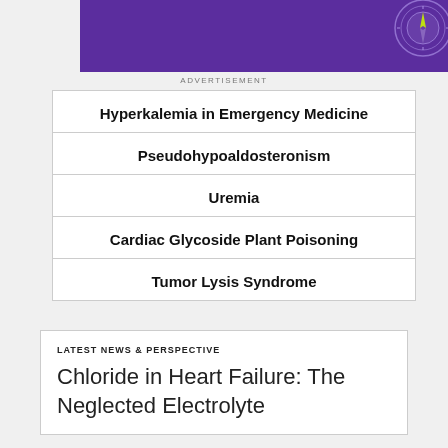[Figure (illustration): Purple banner with compass graphic]
ADVERTISEMENT
Hyperkalemia in Emergency Medicine
Pseudohypoaldosteronism
Uremia
Cardiac Glycoside Plant Poisoning
Tumor Lysis Syndrome
LATEST NEWS & PERSPECTIVE
Chloride in Heart Failure: The Neglected Electrolyte